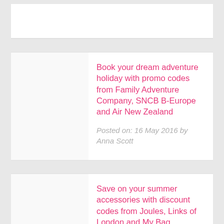[Figure (other): Partial white card at top of page, image area only visible]
Book your dream adventure holiday with promo codes from Family Adventure Company, SNCB B-Europe and Air New Zealand
Posted on: 16 May 2016 by Anna Scott
Save on your summer accessories with discount codes from Joules, Links of London and My Bag